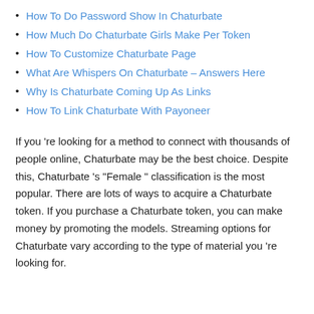How To Do Password Show In Chaturbate
How Much Do Chaturbate Girls Make Per Token
How To Customize Chaturbate Page
What Are Whispers On Chaturbate – Answers Here
Why Is Chaturbate Coming Up As Links
How To Link Chaturbate With Payoneer
If you 're looking for a method to connect with thousands of people online, Chaturbate may be the best choice. Despite this, Chaturbate 's "Female " classification is the most popular. There are lots of ways to acquire a Chaturbate token. If you purchase a Chaturbate token, you can make money by promoting the models. Streaming options for Chaturbate vary according to the type of material you 're looking for.